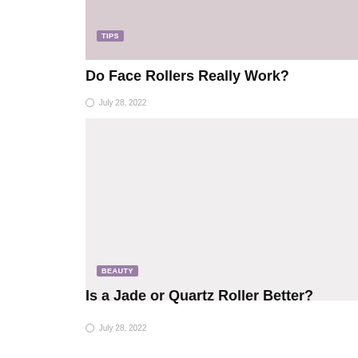[Figure (photo): Photo of a person using a face roller, cropped at top with TIPS badge overlay]
TIPS
Do Face Rollers Really Work?
July 28, 2022
[Figure (photo): Light gray placeholder image for a second article with BEAUTY badge overlay]
BEAUTY
Is a Jade or Quartz Roller Better?
July 28, 2022